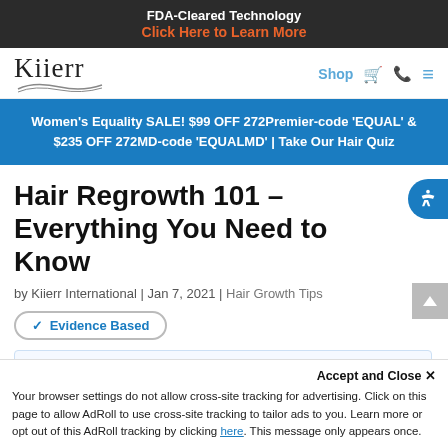FDA-Cleared Technology
Click Here to Learn More
[Figure (logo): Kiierr logo with stylized underline]
Shop 🛒 📞 ≡
Women's Equality SALE! $99 OFF 272Premier-code 'EQUAL' & $235 OFF 272MD-code 'EQUALMD' | Take Our Hair Quiz
Hair Regrowth 101 – Everything You Need to Know
by Kiierr International | Jan 7, 2021 | Hair Growth Tips
✓ Evidence Based
Last Updated: 7/6/22 - We regularly update articles to maintain the highest accuracy & information for our readers.
Accept and Close ×
Your browser settings do not allow cross-site tracking for advertising. Click on this page to allow AdRoll to use cross-site tracking to tailor ads to you. Learn more or opt out of this AdRoll tracking by clicking here. This message only appears once.